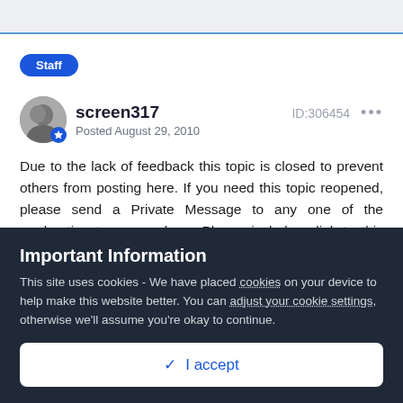Staff
screen317
Posted August 29, 2010
ID:306454
Due to the lack of feedback this topic is closed to prevent others from posting here. If you need this topic reopened, please send a Private Message to any one of the moderating team members. Please include a link to this thread with your request. This applies
Important Information
This site uses cookies - We have placed cookies on your device to help make this website better. You can adjust your cookie settings, otherwise we'll assume you're okay to continue.
✓ I accept